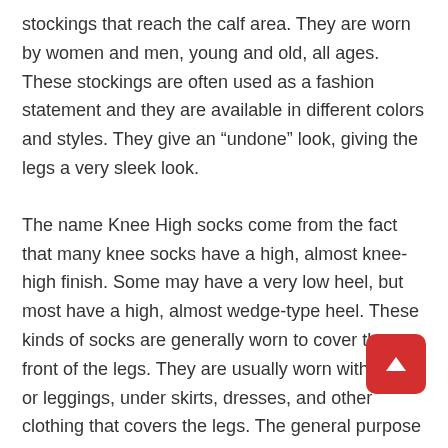stockings that reach the calf area. They are worn by women and men, young and old, all ages. These stockings are often used as a fashion statement and they are available in different colors and styles. They give an “undone” look, giving the legs a very sleek look.
The name Knee High socks come from the fact that many knee socks have a high, almost knee-high finish. Some may have a very low heel, but most have a high, almost wedge-type heel. These kinds of socks are generally worn to cover the front of the legs. They are usually worn with tights or leggings, under skirts, dresses, and other clothing that covers the legs. The general purpose of wearing these socks is to keep the legs cool during the summer.
These leg warmers are made from elastic material and